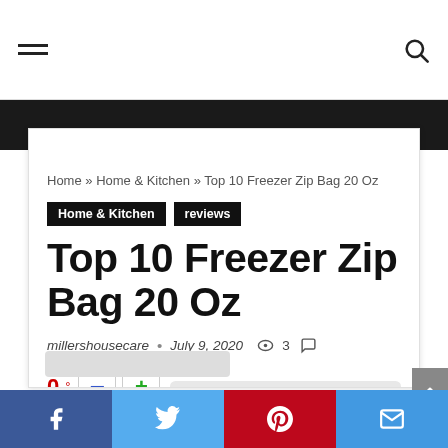Navigation bar with hamburger menu and search icon
Home » Home & Kitchen » Top 10 Freezer Zip Bag 20 Oz
Home & Kitchen   reviews
Top 10 Freezer Zip Bag 20 Oz
millershousecare • July 9, 2020 👁 3 💬
0°  −  +  [progress bar]
Facebook  Twitter  Pinterest  Email